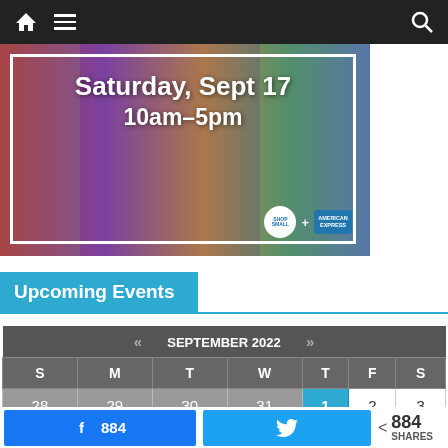Navigation bar with home, menu, and search icons
[Figure (photo): Event promotional banner showing a street market crowd scene with colorful overlays. Text reads: Saturday, Sept 17 / 10am–5pm. Shop Small and American Express logos visible in bottom right.]
Upcoming Events
| « | SEPTEMBER 2022 | » |  |  |  |  |
| --- | --- | --- | --- | --- | --- | --- |
| S | M | T | W | T | F | S |
| 28 | 29 | 30 | 31 | 1 | 2 | 3 |
Facebook: 884 shares | Twitter share button | Share count: 884 SHARES